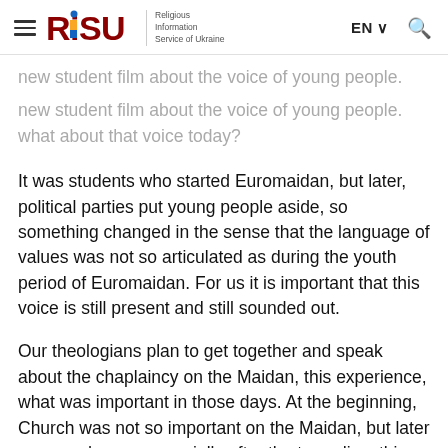RISU - Religious Information Service of Ukraine | EN | Search
new student film about the voice of young people. what about that voice today?
It was students who started Euromaidan, but later, political parties put young people aside, so something changed in the sense that the language of values was not so articulated as during the youth period of Euromaidan. For us it is important that this voice is still present and still sounded out.
Our theologians plan to get together and speak about the chaplaincy on the Maidan, this experience, what was important in those days. At the beginning, Church was not so important on the Maidan, but later more and more, especially after the tragedies, this dimension became important.